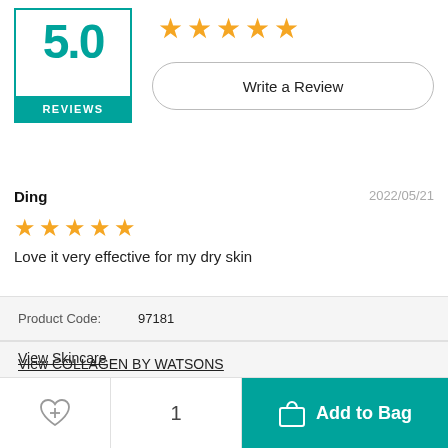[Figure (other): Rating box showing 5.0 with teal REVIEWS label, five gold stars, and Write a Review button]
Ding
2022/05/21
[Figure (other): Four gold stars rating]
Love it very effective for my dry skin
| Product Code: | 97181 |
| --- | --- |
View Skincare
View Toners
View COLLAGEN BY WATSONS
[Figure (other): Bottom action bar with heart/wishlist icon, quantity 1, and teal Add to Bag button with shopping bag icon]